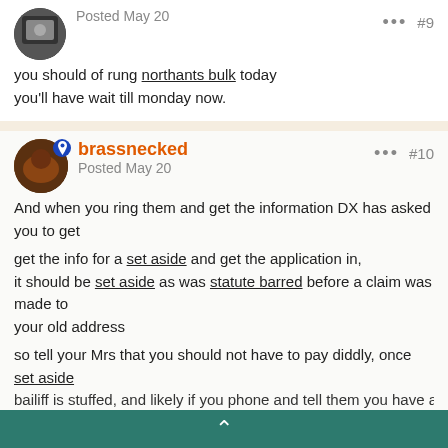[Figure (photo): User avatar thumbnail (dark image)]
Posted May 20
#9
you should of rung northants bulk today
you'll have wait till monday now.
[Figure (photo): User avatar for brassnecked with blue location pin icon]
brassnecked
Posted May 20
#10
And when you ring them and get the information DX has asked you to get
get the info for a set aside and get the application in,
it should be set aside as was statute barred before a claim was made to your old address
so tell your Mrs that you should not have to pay diddly, once set aside
bailiff is stuffed, and likely if you phone and tell them you have applied for